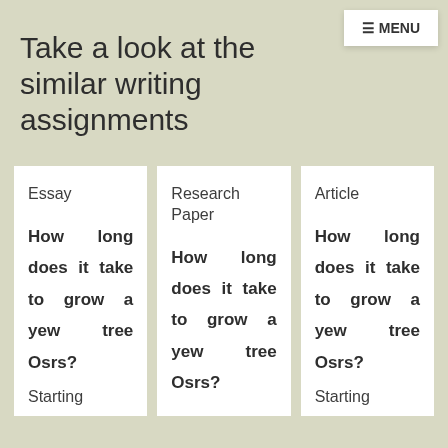≡ MENU
Take a look at the similar writing assignments
Essay
How long does it take to grow a yew tree Osrs?
Starting
Research Paper
How long does it take to grow a yew tree Osrs?
Article
How long does it take to grow a yew tree Osrs?
Starting